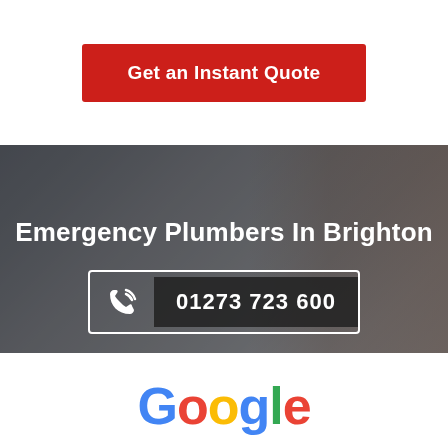Get an Instant Quote
[Figure (photo): Woman with worried expression holding a phone to her ear, wearing rubber gloves, in a bathroom setting with water damage visible]
Emergency Plumbers In Brighton
01273 723 600
[Figure (logo): Google logo in multicolor (blue, red, yellow, green) letters]